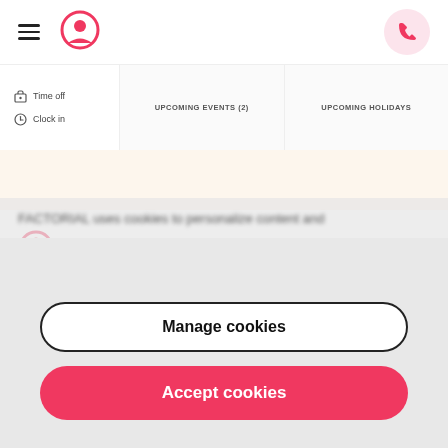[Figure (screenshot): Factorial HR app navigation bar with hamburger menu, circular user icon in pink, and pink phone button on the right]
[Figure (screenshot): App interface strip showing left panel with Time off and Clock in options, and right tabs for UPCOMING EVENTS (2) and UPCOMING HOLIDAYS]
[Figure (logo): Factorial logo: pink circular user icon followed by the word 'factorial' in pink bold text]
A software that was created with the goal of solving
FACTORIAL uses cookies to personalize content and
Manage cookies
Accept cookies